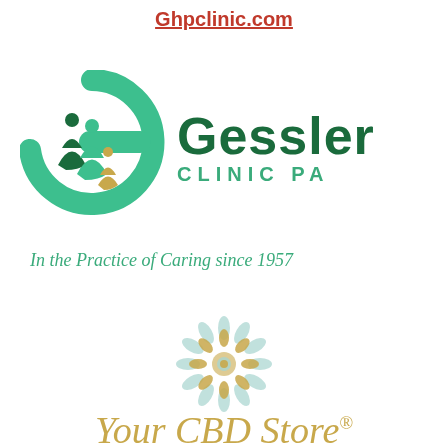Ghpclinic.com
[Figure (logo): Gessler Clinic PA logo with green circular G icon containing stylized human figures and a yellow figure, with 'Gessler CLINIC PA' text to the right]
In the Practice of Caring since 1957
[Figure (logo): Your CBD Store mandala/flower ornament logo in light blue and gold tones]
Your CBD Store® Winter Haven